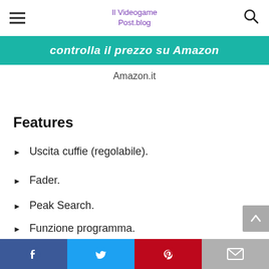Il Videogame Post.blog
[Figure (other): Teal/green button with italic white bold text: 'controlla il prezzo su Amazon']
Amazon.it
Features
Uscita cuffie (regolabile).
Fader.
Peak Search.
Funzione programma.
Funzione Shuffle.
Facebook  Twitter  Pinterest  Mail